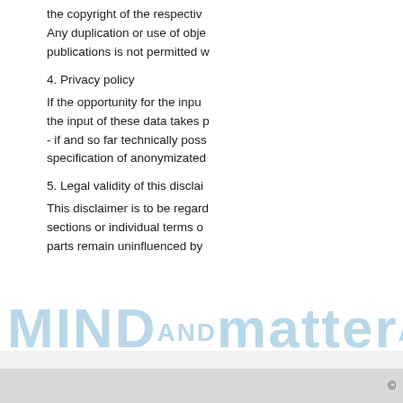the copyright of the respective. Any duplication or use of objects such as diagrams, sounds or texts in other electronic or printed publications is not permitted w
4. Privacy policy
If the opportunity for the input of personal or business data exists, the input of these data takes place voluntarily. The usage of published postal addresses, telephone or fax numbers and email addresses for marketing purposes is prohibited - if and so far technically poss- specification of anonymizated
5. Legal validity of this disclaim
This disclaimer is to be regarded as part of the internet publication. If sections or individual terms of this statement are not legal or correct, the content or validity of the other parts remain uninfluenced by
©